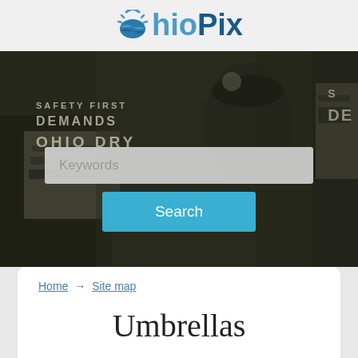OhioPix
[Figure (photo): Black and white historical photograph of women holding protest signs including text 'DEMANDS OHIO DRY', with a search input field and Search button overlaid on the image]
Home → Site map
Umbrellas